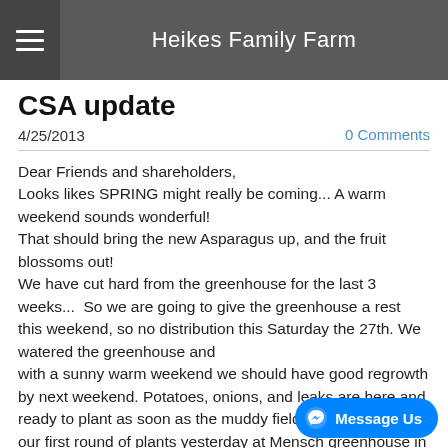Heikes Family Farm
CSA update
4/25/2013
0 Comments
Dear Friends and shareholders,
Looks likes SPRING might really be coming... A warm weekend sounds wonderful!
That should bring the new Asparagus up, and the fruit blossoms out!
We have cut hard from the greenhouse for the last 3 weeks...  So we are going to give the greenhouse a rest
this weekend, so no distribution this Saturday the 27th. We watered the greenhouse and
with a sunny warm weekend we should have good regrowth by next weekend. Potatoes, onions, and leaks are here and ready to plant as soon as the muddy fields dry up. I ordered our first round of plants yesterday at Mensch greenhouse in Avon: 640 Broccoli, 640 Cabbage, 320 Cauliflower, 320 Kohlrabi, 160 Celery, 160 Brusser Sprouts. We will mechanically transplant them with the  4 row lister as soon as